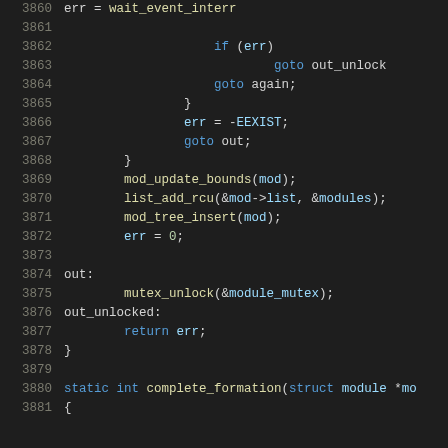[Figure (screenshot): Source code snippet showing lines 3860-3881 of a C kernel module file, with syntax highlighting. Dark background IDE theme. Contains function body with error handling, mod_update_bounds, list_add_rcu, mod_tree_insert calls, labels out and out_unlocked, and start of complete_formation function.]